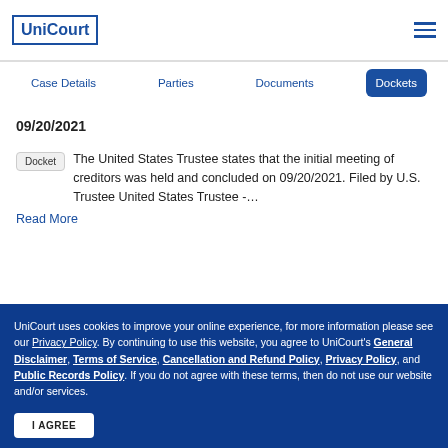UniCourt
Case Details | Parties | Documents | Dockets
09/20/2021
Docket  The United States Trustee states that the initial meeting of creditors was held and concluded on 09/20/2021. Filed by U.S. Trustee United States Trustee -...
Read More
UniCourt uses cookies to improve your online experience, for more information please see our Privacy Policy. By continuing to use this website, you agree to UniCourt's General Disclaimer, Terms of Service, Cancellation and Refund Policy, Privacy Policy, and Public Records Policy. If you do not agree with these terms, then do not use our website and/or services.
I AGREE